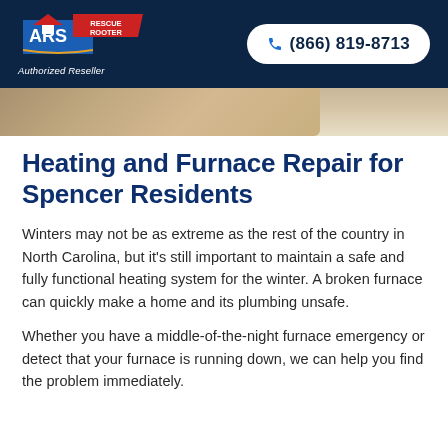[Figure (logo): ARS Rescue Rooter logo with phone number (866) 819-8713 in header]
[Figure (photo): Partial photo strip showing interior scene, cropped at top]
Heating and Furnace Repair for Spencer Residents
Winters may not be as extreme as the rest of the country in North Carolina, but it's still important to maintain a safe and fully functional heating system for the winter. A broken furnace can quickly make a home and its plumbing unsafe.
Whether you have a middle-of-the-night furnace emergency or detect that your furnace is running down, we can help you find the problem immediately.